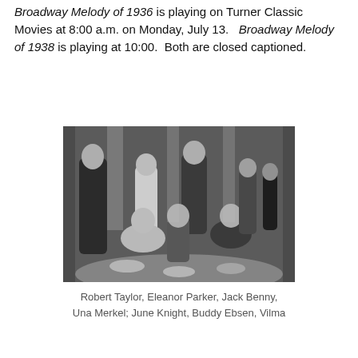Broadway Melody of 1936 is playing on Turner Classic Movies at 8:00 a.m. on Monday, July 13.   Broadway Melody of 1938 is playing at 10:00.  Both are closed captioned.
[Figure (photo): Black and white still from Broadway Melody showing actors seated and standing at a dinner table in formal attire.]
Robert Taylor, Eleanor Parker, Jack Benny, Una Merkel; June Knight, Buddy Ebsen, Vilma